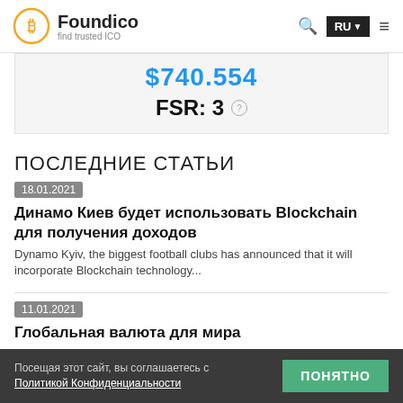Foundico — find trusted ICO
$740.554
FSR: 3
ПОСЛЕДНИЕ СТАТЬИ
18.01.2021
Динамо Киев будет использовать Blockchain для получения доходов
Dynamo Kyiv, the biggest football clubs has announced that it will incorporate Blockchain technology...
11.01.2021
Глобальная валюта для мира
all the people from around the world will definitely be using the
Посещая этот сайт, вы соглашаетесь с Политикой Конфиденциальности  ПОНЯТНО